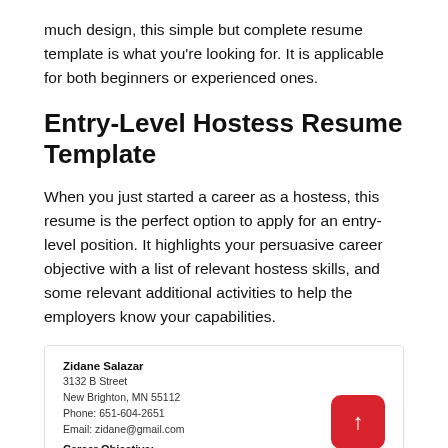much design, this simple but complete resume template is what you're looking for. It is applicable for both beginners or experienced ones.
Entry-Level Hostess Resume Template
When you just started a career as a hostess, this resume is the perfect option to apply for an entry-level position. It highlights your persuasive career objective with a list of relevant hostess skills, and some relevant additional activities to help the employers know your capabilities.
Zidane Salazar
3132 B Street
New Brighton, MN 55112
Phone: 651-604-2651
Email: zidane@gmail.com
Career Objective: